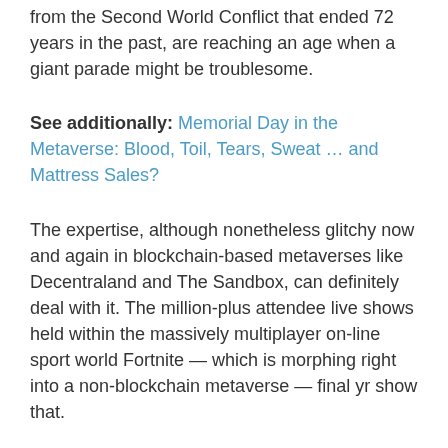from the Second World Conflict that ended 72 years in the past, are reaching an age when a giant parade might be troublesome.
See additionally: Memorial Day in the Metaverse: Blood, Toil, Tears, Sweat … and Mattress Sales?
The expertise, although nonetheless glitchy now and again in blockchain-based metaverses like Decentraland and The Sandbox, can definitely deal with it. The million-plus attendee live shows held within the massively multiplayer on-line sport world Fortnite — which is morphing right into a non-blockchain metaverse — final yr show that.
Whether or not you need to is one other story. For one factor, there's an argument that those that fought for this nation deserve having individuals